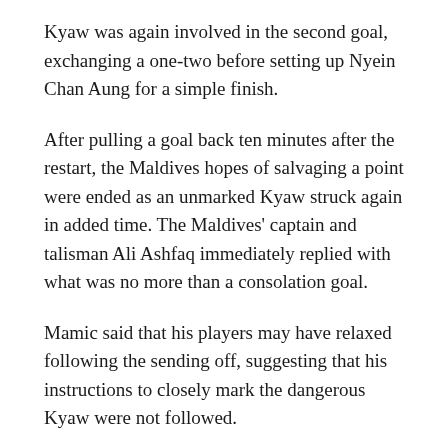Kyaw was again involved in the second goal, exchanging a one-two before setting up Nyein Chan Aung for a simple finish.
After pulling a goal back ten minutes after the restart, the Maldives hopes of salvaging a point were ended as an unmarked Kyaw struck again in added time. The Maldives' captain and talisman Ali Ashfaq immediately replied with what was no more than a consolation goal.
Mamic said that his players may have relaxed following the sending off, suggesting that his instructions to closely mark the dangerous Kyaw were not followed.
When asked about the absence of playmaker Mohamed Arif from the staring eleven, Mamic said that the midfielder had been unable to train in the